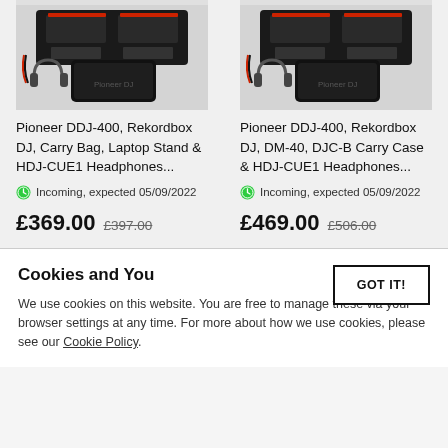[Figure (photo): Pioneer DDJ-400 DJ controller bundle with carry bag, laptop stand and HDJ-CUE1 headphones product image]
Pioneer DDJ-400, Rekordbox DJ, Carry Bag, Laptop Stand & HDJ-CUE1 Headphones...
Incoming, expected 05/09/2022
£369.00  £397.00
[Figure (photo): Pioneer DDJ-400 DJ controller bundle with DM-40 monitors, DJC-B carry case and HDJ-CUE1 headphones product image]
Pioneer DDJ-400, Rekordbox DJ, DM-40, DJC-B Carry Case & HDJ-CUE1 Headphones...
Incoming, expected 05/09/2022
£469.00  £506.00
Cookies and You
We use cookies on this website. You are free to manage these via your browser settings at any time. For more about how we use cookies, please see our Cookie Policy.